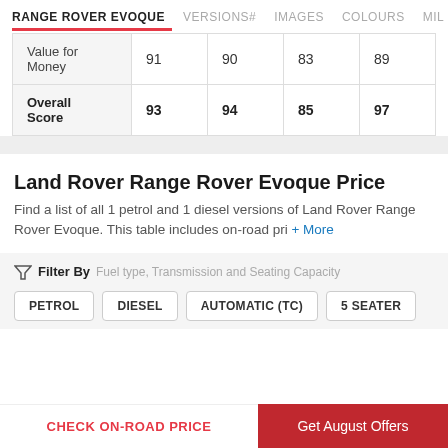RANGE ROVER EVOQUE   VERSIONS#   IMAGES   COLOURS   MIL
|  | Col1 | Col2 | Col3 | Col4 |
| --- | --- | --- | --- | --- |
| Value for Money | 91 | 90 | 83 | 89 |
| Overall Score | 93 | 94 | 85 | 97 |
Land Rover Range Rover Evoque Price
Find a list of all 1 petrol and 1 diesel versions of Land Rover Range Rover Evoque. This table includes on-road pri + More
Filter By Fuel type, Transmission and Seating Capacity
PETROL
DIESEL
AUTOMATIC (TC)
5 SEATER
CHECK ON-ROAD PRICE   Get August Offers